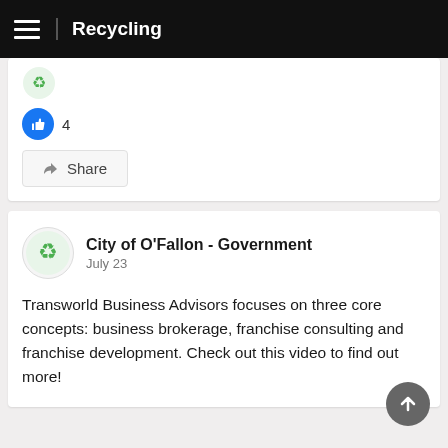Recycling
[Figure (logo): Partial recycling logo/image visible at top of card]
4
Share
City of O'Fallon - Government
July 23
Transworld Business Advisors focuses on three core concepts: business brokerage, franchise consulting and franchise development. Check out this video to find out more!